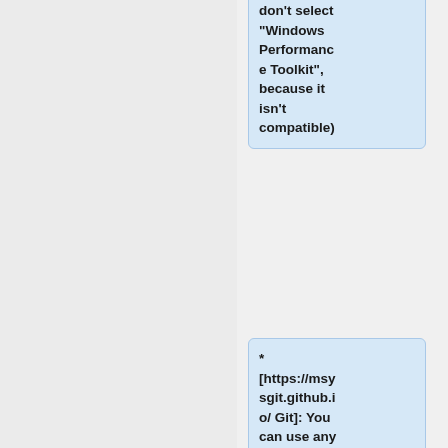don't select "Windows Performance Toolkit", because it isn't compatible)
* [https://msysgit.github.io/ Git]: You can use any version of Git, it only has to be in your PATH variable.
Download Protocol Buffers
== Creating the build environment